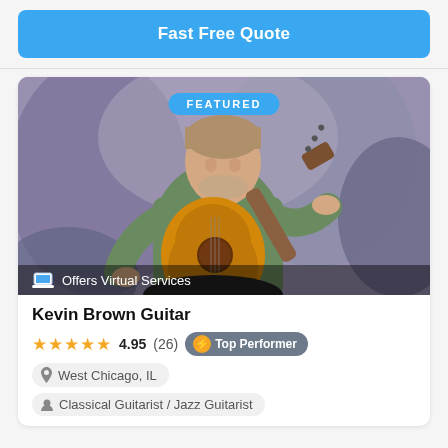Fast Free Quote
[Figure (photo): Featured musician Kevin Brown playing a classical guitar, seated, wearing a green shirt, against a mottled purple-blue studio background. A 'FEATURED' badge appears at the top center. A laptop icon with 'Offers Virtual Services' text appears at the bottom of the photo.]
Kevin Brown Guitar
★★★★★ 4.95 (26) ⚡ Top Performer
West Chicago, IL
Classical Guitarist / Jazz Guitarist